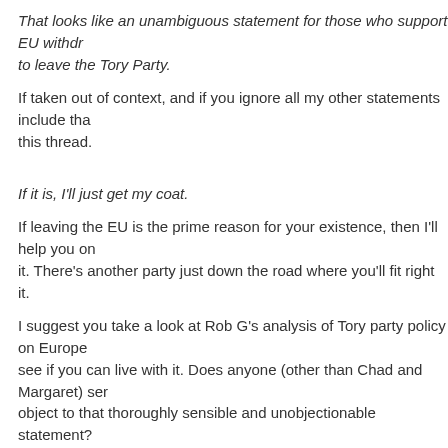That looks like an unambiguous statement for those who support EU withdrawal to leave the Tory Party.
If taken out of context, and if you ignore all my other statements include that in this thread.
If it is, I'll just get my coat.
If leaving the EU is the prime reason for your existence, then I'll help you on it. There's another party just down the road where you'll fit right it.
I suggest you take a look at Rob G's analysis of Tory party policy on Europe see if you can live with it. Does anyone (other than Chad and Margaret) seriously object to that thoroughly sensible and unobjectionable statement?
I think only the most vehement Europhobe could disagree with an effort in government to reform the EU from within. I suppose you could then throw your toys out of the pram if it didn't work out.
Posted by: True Blue | April 24, 2006 at 15:05
TB,